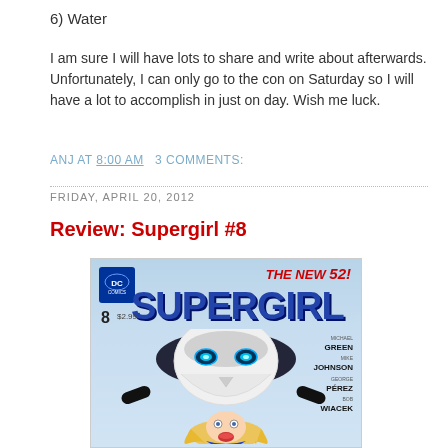6) Water
I am sure I will have lots to share and write about afterwards. Unfortunately, I can only go to the con on Saturday so I will have a lot to accomplish in just on day. Wish me luck.
ANJ AT 8:00 AM   3 COMMENTS:
FRIDAY, APRIL 20, 2012
Review: Supergirl #8
[Figure (illustration): Comic book cover of Supergirl #8, DC Comics New 52. Shows a villain with a white skull-like mask with glowing blue eyes grabbing Supergirl (blonde girl in blue/red costume) from behind. Title reads SUPERGIRL in large blue letters. Credits: Michael Green, Mike Johnson, George Perez, Bob Wiacek.]